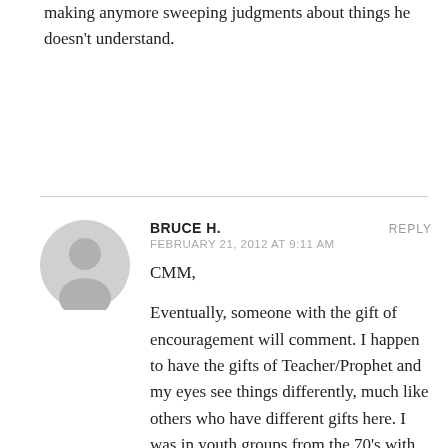making anymore sweeping judgments about things he doesn't understand.
BRUCE H.
FEBRUARY 21, 2012 AT 9:11 AM
REPLY
[Figure (illustration): Generic user avatar: grey circle with silhouette of a person (head and shoulders)]
CMM,
Eventually, someone with the gift of encouragement will comment. I happen to have the gifts of Teacher/Prophet and my eyes see things differently, much like others who have different gifts here. I was in youth groups from the 70's with the long hair and bell bottom pants many praise songs that no one sings